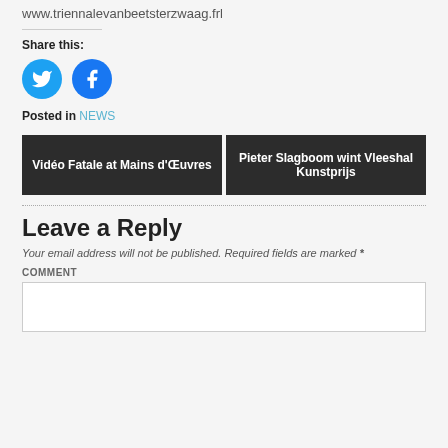www.triennalevanbeetsterzwaag.frl
Share this:
[Figure (illustration): Twitter and Facebook circular social share buttons]
Posted in NEWS
Vidéo Fatale at Mains d'Œuvres
Pieter Slagboom wint Vleeshal Kunstprijs
Leave a Reply
Your email address will not be published. Required fields are marked *
COMMENT